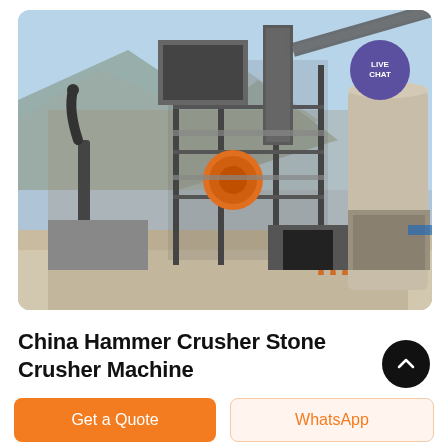[Figure (photo): Industrial stone crusher / hammer crusher facility with tall steel-frame structure, conveyor belts, silos, and mountains in background. A 'LIVE CHAT' purple speech-bubble overlay is in the top-right corner of the image.]
China Hammer Crusher Stone Crusher Machine
Get a Quote
WhatsApp